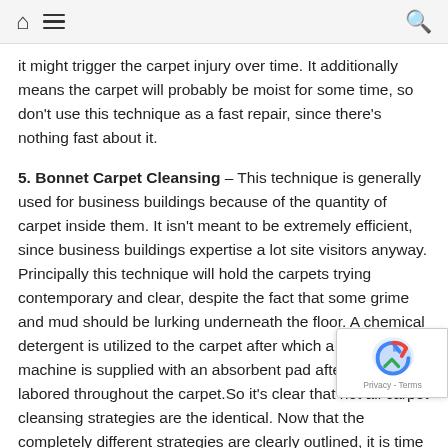home menu search
it might trigger the carpet injury over time. It additionally means the carpet will probably be moist for some time, so don't use this technique as a fast repair, since there's nothing fast about it.
5. Bonnet Carpet Cleansing – This technique is generally used for business buildings because of the quantity of carpet inside them. It isn't meant to be extremely efficient, since business buildings expertise a lot site visitors anyway. Principally this technique will hold the carpets trying contemporary and clear, despite the fact that some grime and mud should be lurking underneath the floor. A chemical detergent is utilized to the carpet after which a rotary machine is supplied with an absorbent pad after which labored throughout the carpet.So it's clear that not all carpet cleansing strategies are the identical. Now that the completely different strategies are clearly outlined, it is time to determine which one will work greatest individual house. Select correctly, as completely different str will have an effect on several types of carpet in numerous methods.